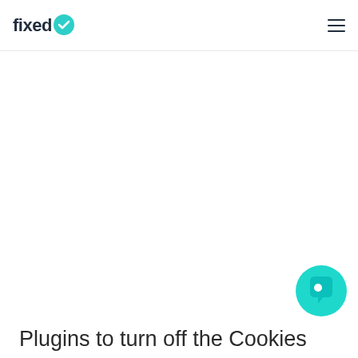fixed
[Figure (logo): Fixed logo with teal checkmark circle icon next to the word 'fixed' in dark navy text]
[Figure (illustration): Teal circular chat button with a speech bubble icon in the bottom right corner]
Plugins to turn off the Cookies